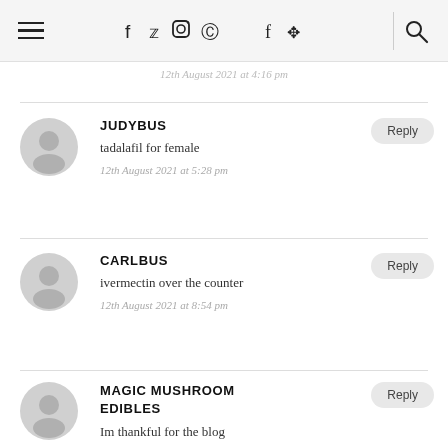Navigation bar with hamburger menu, social icons (f, twitter, instagram, pinterest), divider, search icon
12th August 2021 at 4:16 pm
JUDYBUS — tadalafil for female — 12th August 2021 at 5:28 pm
CARLBUS — ivermectin over the counter — 12th August 2021 at 8:54 pm
MAGIC MUSHROOM EDIBLES — Im thankful for the blog